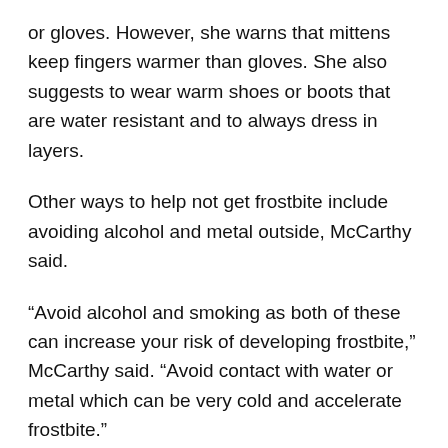or gloves. However, she warns that mittens keep fingers warmer than gloves. She also suggests to wear warm shoes or boots that are water resistant and to always dress in layers.
Other ways to help not get frostbite include avoiding alcohol and metal outside, McCarthy said.
“Avoid alcohol and smoking as both of these can increase your risk of developing frostbite,” McCarthy said. “Avoid contact with water or metal which can be very cold and accelerate frostbite.”
Contrary to popular wisdom, lotion can make frostbite worse, McCarthy said.
“Do not use lotion or ointment on the skin to prevent